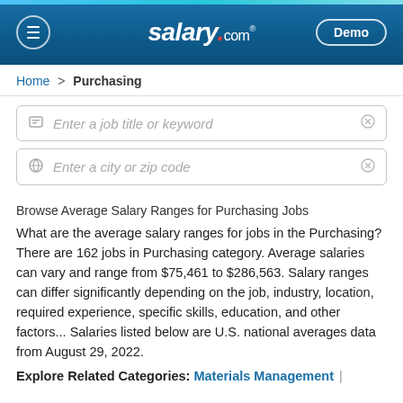salary.com — Demo
Home > Purchasing
Enter a job title or keyword
Enter a city or zip code
Browse Average Salary Ranges for Purchasing Jobs
What are the average salary ranges for jobs in the Purchasing? There are 162 jobs in Purchasing category. Average salaries can vary and range from $75,461 to $286,563. Salary ranges can differ significantly depending on the job, industry, location, required experience, specific skills, education, and other factors... Salaries listed below are U.S. national averages data from August 29, 2022.
Explore Related Categories: Materials Management |